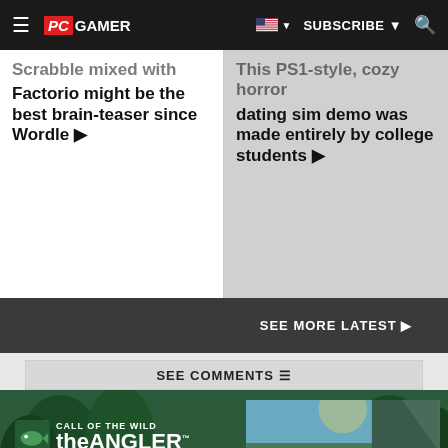PC GAMER | SUBSCRIBE
Scrabble mixed with Factorio might be the best brain-teaser since Wordle ▶
This PS1-style, cozy horror dating sim demo was made entirely by college students ▶
SEE MORE LATEST ▶
SEE COMMENTS
[Figure (infographic): Advertisement for 'Call of the Wild: the Angler' game. Shows logo with fish icon, text 'AVAILABLE NOW ON PC', and a scenic outdoor fishing landscape image with text 'AN OPEN WORLD FISHING EXPERIENCE'. PEGI 7 rating shown.]